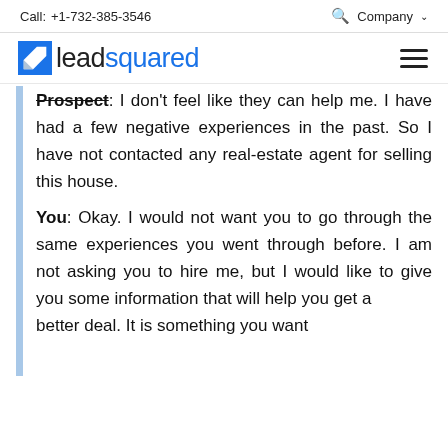Call: +1-732-385-3546   Company
[Figure (logo): LeadSquared logo with blue square icon and text 'leadsquared' where 'lead' is black and 'squared' is blue]
Prospect: I don't feel like they can help me. I have had a few negative experiences in the past. So I have not contacted any real-estate agent for selling this house.
You: Okay. I would not want you to go through the same experiences you went through before. I am not asking you to hire me, but I would like to give you some information that will help you get a better deal. It is something you want...